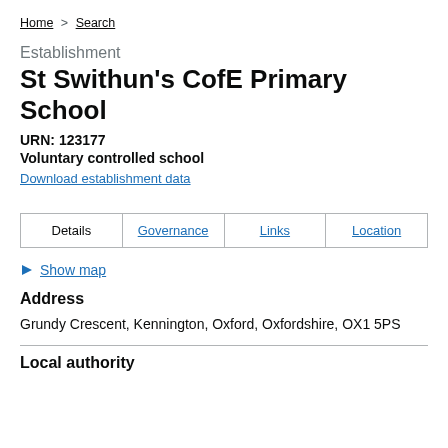Home > Search
Establishment
St Swithun's CofE Primary School
URN: 123177
Voluntary controlled school
Download establishment data
| Details | Governance | Links | Location |
| --- | --- | --- | --- |
Show map
Address
Grundy Crescent, Kennington, Oxford, Oxfordshire, OX1 5PS
Local authority